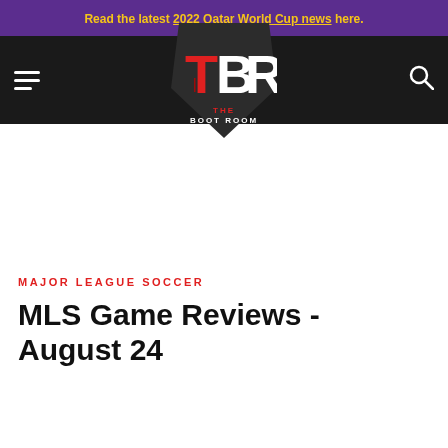Read the latest 2022 Qatar World Cup news here.
[Figure (logo): The Boot Room (TBR) logo on dark navigation bar with hamburger menu icon on left and search icon on right]
MAJOR LEAGUE SOCCER
MLS Game Reviews - August 24